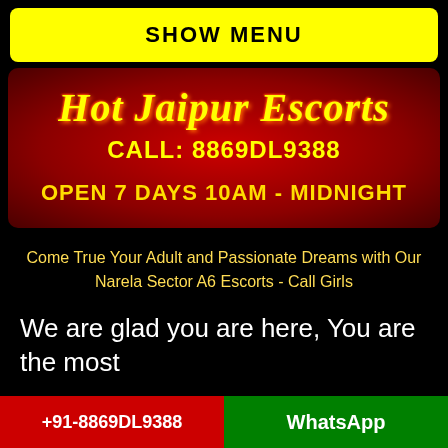SHOW MENU
[Figure (infographic): Red gradient banner with yellow text: Hot Jaipur Escorts, CALL: 8869DL9388, OPEN 7 DAYS 10AM - MIDNIGHT]
Come True Your Adult and Passionate Dreams with Our Narela Sector A6 Escorts - Call Girls
We are glad you are here, You are the most
+91-8869DL9388  |  WhatsApp